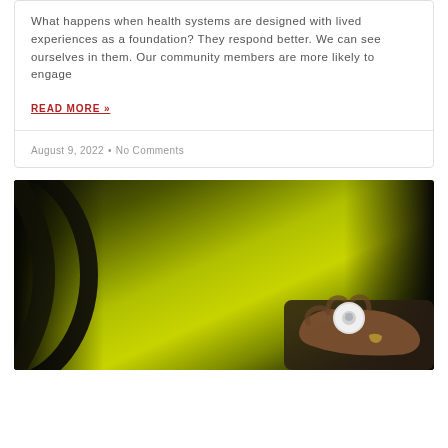What happens when health systems are designed with lived experiences as a foundation? They respond better. We can see ourselves in them. Our community members are more likely to engage
READ MORE »
August 9, 2022 • No Comments
[Figure (photo): A person's hand holding a small circular white pill container or cap, photographed against a yellow-green blurred background with dark areas on the left and right.]